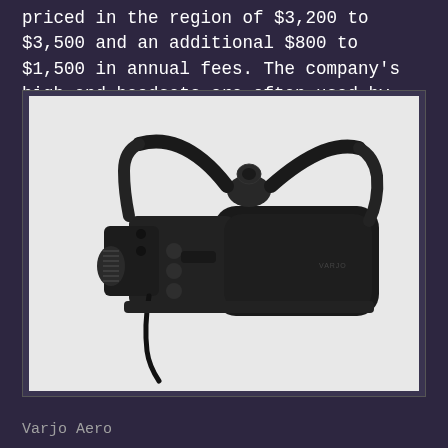priced in the region of $3,200 to $3,500 and an additional $800 to $1,500 in annual fees. The company's high-end headsets are often used by many Fortune 500 companies.
[Figure (photo): A Varjo Aero VR headset — a high-end virtual reality headset in dark black/dark grey color, shown against a light grey background. The headset features a compact face unit with lens housing, head straps, and a cable.]
Varjo Aero